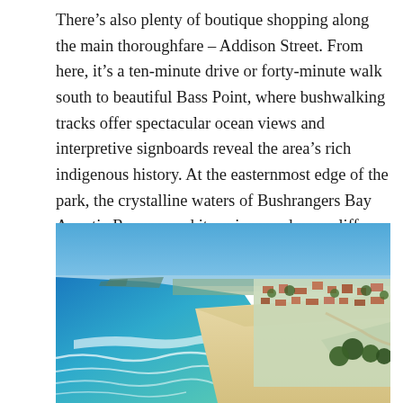There's also plenty of boutique shopping along the main thoroughfare – Addison Street. From here, it's a ten-minute drive or forty-minute walk south to beautiful Bass Point, where bushwalking tracks offer spectacular ocean views and interpretive signboards reveal the area's rich indigenous history. At the easternmost edge of the park, the crystalline waters of Bushrangers Bay Aquatic Reserve and its unique undersea cliffs teem with marine life.
[Figure (photo): Aerial photograph of a coastal town with a long sandy beach, turquoise ocean waves on the left, and a suburban township with trees and buildings on the right, under a clear blue sky.]